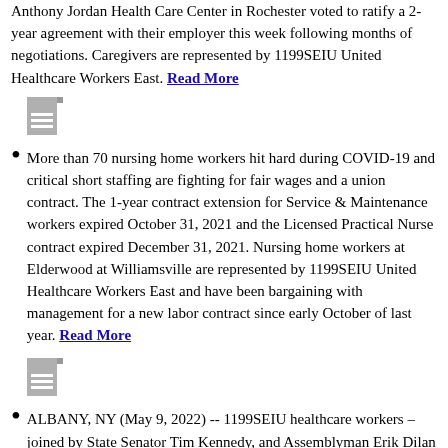Anthony Jordan Health Care Center in Rochester voted to ratify a 2-year agreement with their employer this week following months of negotiations. Caregivers are represented by 1199SEIU United Healthcare Workers East. Read More
[Figure (illustration): Document/file icon (grey)]
More than 70 nursing home workers hit hard during COVID-19 and critical short staffing are fighting for fair wages and a union contract. The 1-year contract extension for Service & Maintenance workers expired October 31, 2021 and the Licensed Practical Nurse contract expired December 31, 2021. Nursing home workers at Elderwood at Williamsville are represented by 1199SEIU United Healthcare Workers East and have been bargaining with management for a new labor contract since early October of last year. Read More
[Figure (illustration): Document/file icon (grey)]
ALBANY, NY (May 9, 2022) -- 1199SEIU healthcare workers – joined by State Senator Tim Kennedy, and Assemblyman Erik Dilan and a host of other lawmakers – today called for passage of the Reinvest in NY Healthcare